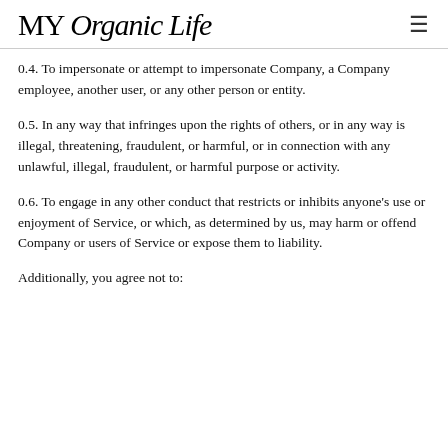MY Organic Life
0.4. To impersonate or attempt to impersonate Company, a Company employee, another user, or any other person or entity.
0.5. In any way that infringes upon the rights of others, or in any way is illegal, threatening, fraudulent, or harmful, or in connection with any unlawful, illegal, fraudulent, or harmful purpose or activity.
0.6. To engage in any other conduct that restricts or inhibits anyone's use or enjoyment of Service, or which, as determined by us, may harm or offend Company or users of Service or expose them to liability.
Additionally, you agree not to: